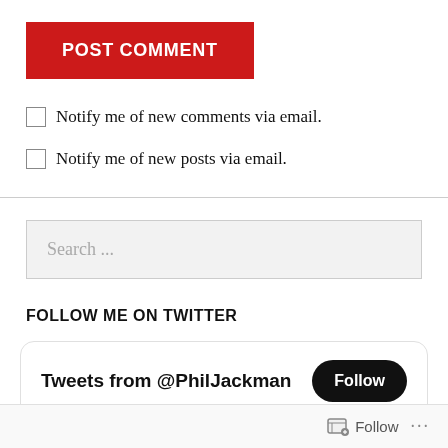[Figure (screenshot): Red POST COMMENT button]
Notify me of new comments via email.
Notify me of new posts via email.
[Figure (screenshot): Search input box with placeholder text 'Search ...']
FOLLOW ME ON TWITTER
[Figure (screenshot): Twitter widget showing 'Tweets from @PhilJackman' with a Follow button]
Follow ...